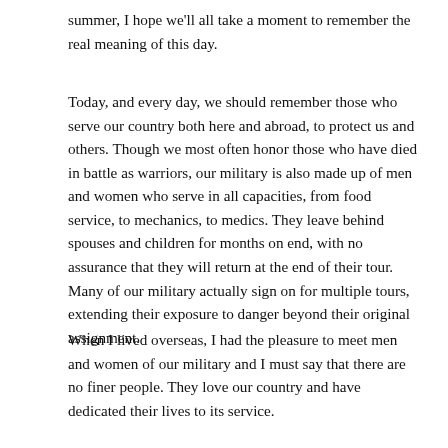summer, I hope we'll all take a moment to remember the real meaning of this day.
Today, and every day, we should remember those who serve our country both here and abroad, to protect us and others. Though we most often honor those who have died in battle as warriors, our military is also made up of men and women who serve in all capacities, from food service, to mechanics, to medics. They leave behind spouses and children for months on end, with no assurance that they will return at the end of their tour. Many of our military actually sign on for multiple tours, extending their exposure to danger beyond their original assignment.
When I lived overseas, I had the pleasure to meet men and women of our military and I must say that there are no finer people. They love our country and have dedicated their lives to its service.